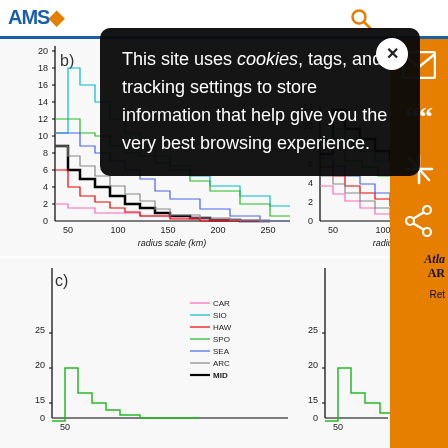AMS — American Meteorological Society
[Figure (screenshot): Cookie consent modal overlay on AMS website: 'This site uses cookies, tags, and tracking settings to store information that help give you the very best browsing experience.' with a close button (X)]
[Figure (histogram): Panel b) histogram of radius scale (km) for multiple regions (CAR, SIO, HAW, SPO, SEA, ARC, MID) — left chart, y-axis 0-20, x-axis 50-250 km]
[Figure (histogram): Panel b) histogram of radius scale (km) — right chart, same regions, y-axis 0-12, x-axis 50-200 km]
[Figure (histogram): Panel c) histogram of radius scale (km) — left chart, y-axis 15-25, showing SPO region peak around 20]
[Figure (histogram): Panel c) histogram of radius scale (km) — right chart, y-axis 15-25, showing SPO region peak around 20]